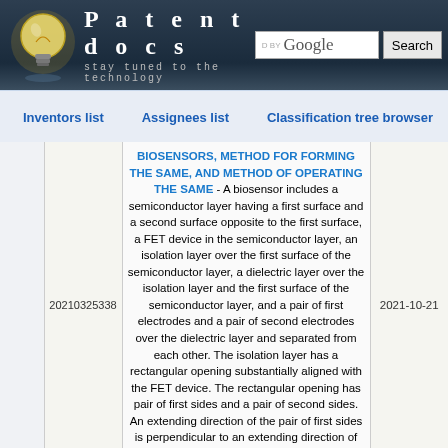Patentdocs — stay tuned to the technology
Inventors list   Assignees list   Classification tree browser
20210325338
BIOSENSORS, METHOD FOR FORMING THE SAME, AND METHOD OF OPERATING THE SAME - A biosensor includes a semiconductor layer having a first surface and a second surface opposite to the first surface, a FET device in the semiconductor layer, an isolation layer over the first surface of the semiconductor layer, a dielectric layer over the isolation layer and the first surface of the semiconductor layer, and a pair of first electrodes and a pair of second electrodes over the dielectric layer and separated from each other. The isolation layer has a rectangular opening substantially aligned with the FET device. The rectangular opening has pair of first sides and a pair of second sides. An extending direction of the pair of first sides is perpendicular to an extending direction of the pair of second sides. The pair of first
2021-10-21